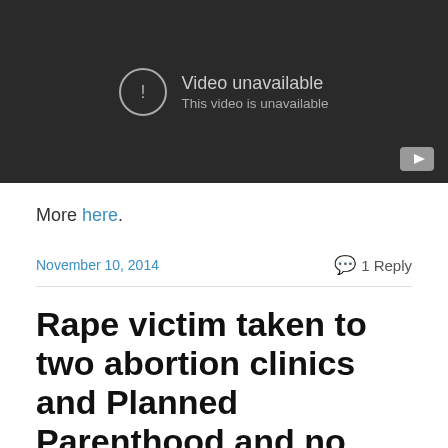[Figure (screenshot): YouTube video embed showing 'Video unavailable' message with exclamation icon and YouTube button in bottom right corner on dark background]
More here.
November 10, 2014    1 Reply
Rape victim taken to two abortion clinics and Planned Parenthood and no abuse